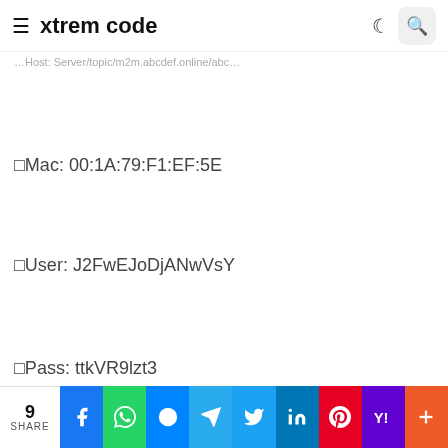xtrem code
…Host: Server/topic/m2m.abcdef.online/abc…
◻Mac: 00:1A:79:F1:EF:5E
◻User: J2FwEJoDjANwVsY
◻Pass: ttkVR9lzt3
9 SHARE | Facebook | WhatsApp | Messenger | Telegram | Twitter | LinkedIn | Pinterest | Yahoo | More